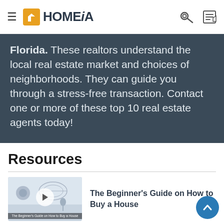HOMEiA
Florida. These realtors understand the local real estate market and choices of neighborhoods. They can guide you through a stress-free transaction. Contact one or more of these top 10 real estate agents today!
Resources
[Figure (screenshot): Thumbnail for 'The Beginner's Guide on How to Buy a House' with play button]
The Beginner's Guide on How to Buy a House
[Figure (illustration): Play button icon (gray circle) for Benefits of a home inspection for Home Buyers video]
Benefits of a home inspection for Home Buyers